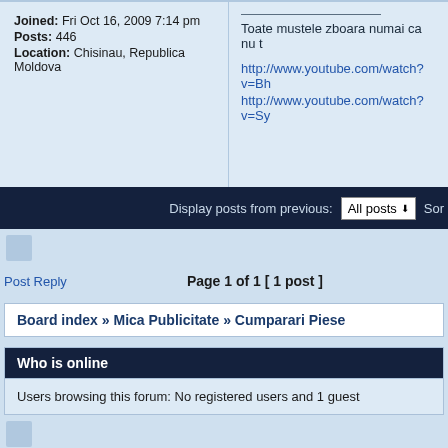Joined: Fri Oct 16, 2009 7:14 pm
Posts: 446
Location: Chisinau, Republica Moldova
Toate mustele zboara numai ca nu t
http://www.youtube.com/watch?v=Bh
http://www.youtube.com/watch?v=Sy
Display posts from previous: All posts  Sor
Post Reply
Page 1 of 1 [ 1 post ]
Board index » Mica Publicitate » Cumparari Piese
Who is online
Users browsing this forum: No registered users and 1 guest